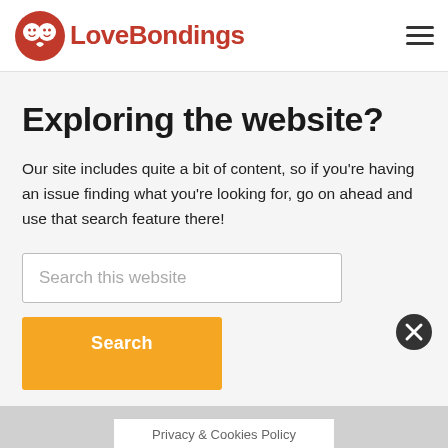LoveBondings
Exploring the website?
Our site includes quite a bit of content, so if you're having an issue finding what you're looking for, go on ahead and use that search feature there!
Search this website
Search
Privacy & Cookies Policy